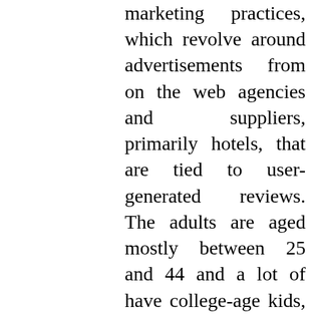marketing practices, which revolve around advertisements from on the web agencies and suppliers, primarily hotels, that are tied to user-generated reviews. The adults are aged mostly between 25 and 44 and a lot of have college-age kids, who commonly are taken to school by automobile.

In 2012, TripAdvisor was fined $80,000 by the U.S. Division of Transportation